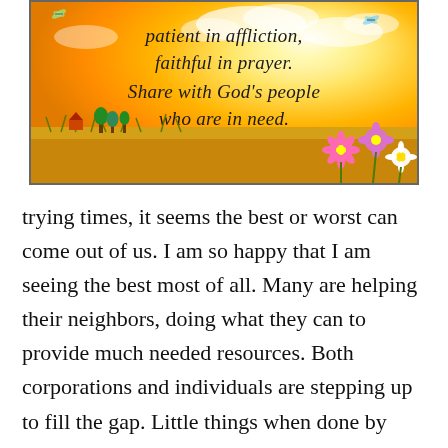[Figure (illustration): Illustrated inspirational image with sunny sky, orange wheat field, colorful flowers, trees and a small house. Text overlay reads: 'patient in affliction, faithful in prayer. Share with God's people who are in need.']
trying times, it seems the best or worst can come out of us. I am so happy that I am seeing the best most of all. Many are helping their neighbors, doing what they can to provide much needed resources. Both corporations and individuals are stepping up to fill the gap. Little things when done by many, make a big difference. It makes me proud to be an American. The past few years have had many at each other's throats and I am seeing